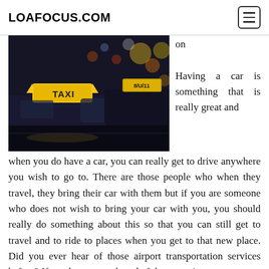LOAFOCUS.COM
[Figure (photo): Night photo of taxi cars with illuminated TAXI signs, city bokeh lights in background]
on

Having a car is something that is really great and when you do have a car, you can really get to drive anywhere you wish to go to. There are those people who when they travel, they bring their car with them but if you are someone who does not wish to bring your car with you, you should really do something about this so that you can still get to travel and to ride to places when you get to that new place. Did you ever hear of those airport transportation services before? If you have never heard of these services